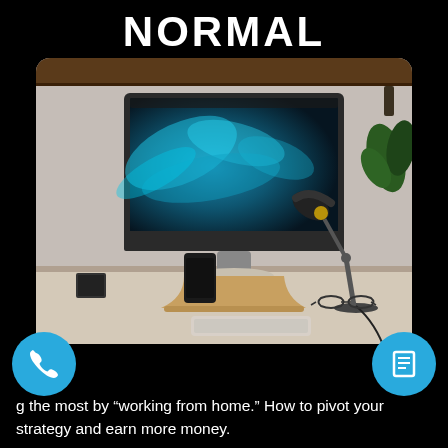NORMAL
[Figure (photo): A home office desk with an Apple iMac displaying a blue abstract wallpaper, a black desk lamp, a speaker, a keyboard, glasses, and a plant on a wooden desk.]
g the most by “working from home.” How to pivot your strategy and earn more money.